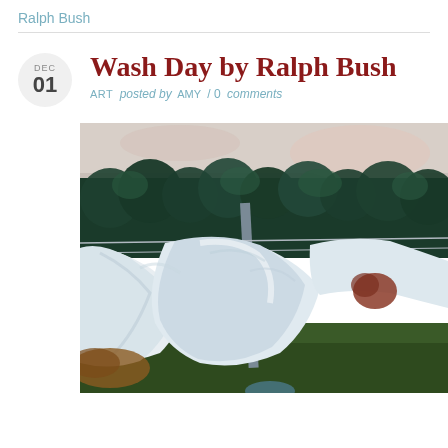Ralph Bush
Wash Day by Ralph Bush
ART posted by AMY / 0 comments
[Figure (photo): Oil painting titled 'Wash Day' by Ralph Bush showing white laundry hanging on a clothesline with a wooden post, dark green treeline in background under a pale sky, impasto oil painting style.]